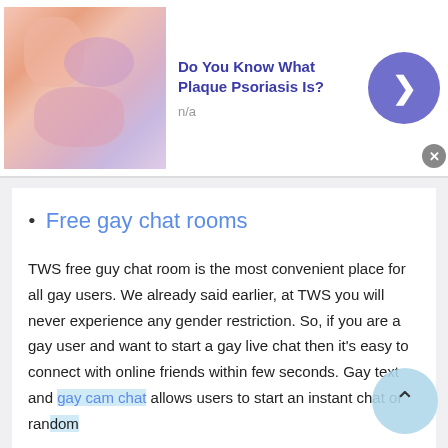[Figure (infographic): Top advertisement banner: image of skin condition on left, bold blue title 'Do You Know What Plaque Psoriasis Is?' with 'n/a' subtitle, blue circular arrow button on right, X close button]
Free gay chat rooms
TWS free guy chat room is the most convenient place for all gay users. We already said earlier, at TWS you will never experience any gender restriction. So, if you are a gay user and want to start a gay live chat then it's easy to connect with online friends within few seconds. Gay text and gay cam chat allows users to start an instant chat or random chat with online...
[Figure (infographic): Bottom advertisement banner: image of skin/hand on left, bold blue title 'Do You Know What Plaque Psoriasis Is?' with 'n/a' subtitle, blue circular arrow button on right, X close button]